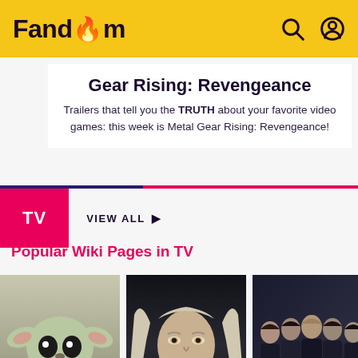Fandom
Gear Rising: Revengeance
Trailers that tell you the TRUTH about your favorite video games: this week is Metal Gear Rising: Revengeance!
TV  VIEW ALL ▶
Popular Wiki Pages in TV
[Figure (photo): Baby Yoda (The Child) from The Mandalorian holding an egg/object]
[Figure (photo): Geralt of Rivia (Henry Cavill) from The Witcher TV show]
[Figure (photo): Group of people / band in dark setting]